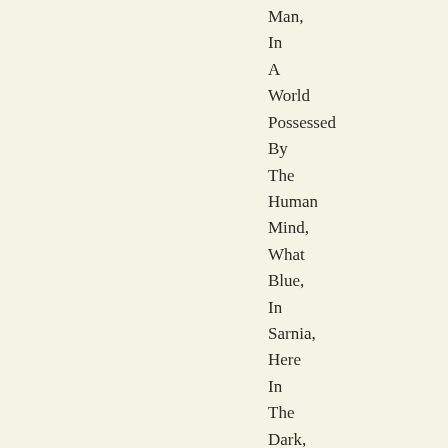Man,
In
A
World
Possessed
By
The
Human
Mind,
What
Blue,
In
Sarnia,
Here
In
The
Dark,
Great
Soul,
Tired
As
Fuck,
Hot
Mic,
Ocean